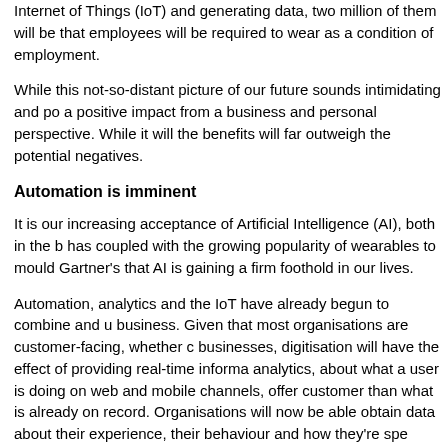Internet of Things (IoT) and generating data, two million of them will be that employees will be required to wear as a condition of employment.
While this not-so-distant picture of our future sounds intimidating and po a positive impact from a business and personal perspective. While it will the benefits will far outweigh the potential negatives.
Automation is imminent
It is our increasing acceptance of Artificial Intelligence (AI), both in the b has coupled with the growing popularity of wearables to mould Gartner's that AI is gaining a firm foothold in our lives.
Automation, analytics and the IoT have already begun to combine and u business. Given that most organisations are customer-facing, whether c businesses, digitisation will have the effect of providing real-time informa analytics, about what a user is doing on web and mobile channels, offer customer than what is already on record. Organisations will now be able obtain data about their experience, their behaviour and how they're spe
By adding automation to the mix, organisations can remove the need fo consumer's online activities. Through the creation of environments that these data points, it is possible for these smart systems to create next b could include providing customers with coupons and incentives to purcha targeted campaigns. In this way, businesses can benefit from being able boost loyalty, prolong retention and create a better customer experience